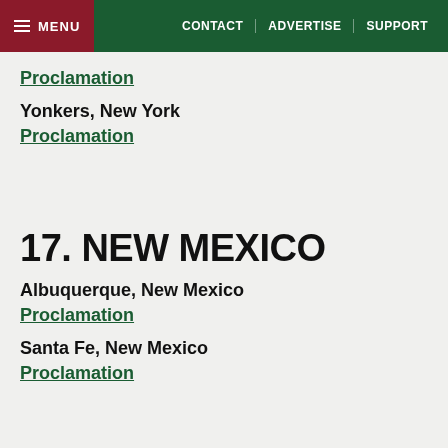MENU | CONTACT | ADVERTISE | SUPPORT
Proclamation
Yonkers, New York
Proclamation
17. NEW MEXICO
Albuquerque, New Mexico
Proclamation
Santa Fe, New Mexico
Proclamation